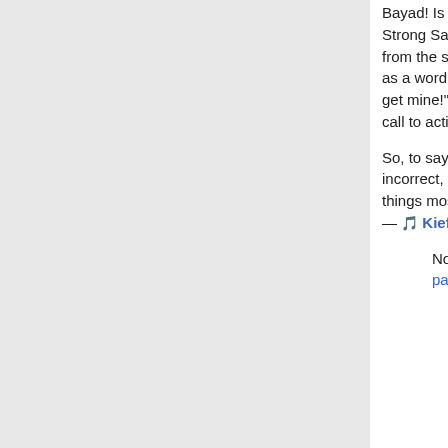Bayad! Is that rhinoceros around?" in interview - Homsar was looking for Strong Sad, so his question makes sense. His next statement, "I'm a song from the sixties", makes no sense at all in that context, and that could qualify as a word salad. As another example, though, "You gotta get yours, I gotta get mine!" in army, could be a perfectly reasonable response to Homestar's call to action.
So, to say that he speaks frequently or entirely in word salads would be incorrect, IMO - in fact, I think he tends to just have a funny way of saying things most of the time, and he uses word salads only every now and then. — KieferSkunk (talk) — 18:14, 7 July 2006 (UTC)
Note that Wikipedia mentions Homsar on both the article and talk page about word salads. I